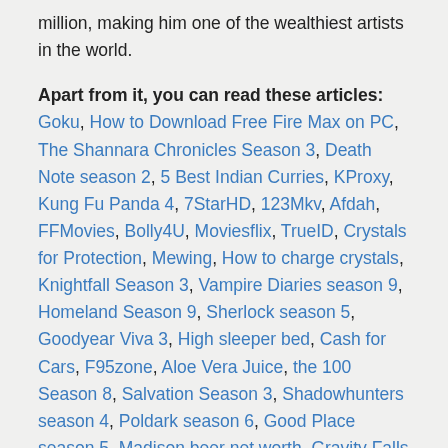million, making him one of the wealthiest artists in the world.
Apart from it, you can read these articles: Goku, How to Download Free Fire Max on PC, The Shannara Chronicles Season 3, Death Note season 2, 5 Best Indian Curries, KProxy, Kung Fu Panda 4, 7StarHD, 123Mkv, Afdah, FFMovies, Bolly4U, Moviesflix, TrueID, Crystals for Protection, Mewing, How to charge crystals, Knightfall Season 3, Vampire Diaries season 9, Homeland Season 9, Sherlock season 5, Goodyear Viva 3, High sleeper bed, Cash for Cars, F95zone, Aloe Vera Juice, the 100 Season 8, Salvation Season 3, Shadowhunters season 4, Poldark season 6, Good Place season 5, Madison beer net worth, Gravity Falls season 3, Hunter x Hunter season 7, Marvelous Mrs. Maisel Season 4, Bloodline 2, Bosch 6 ...